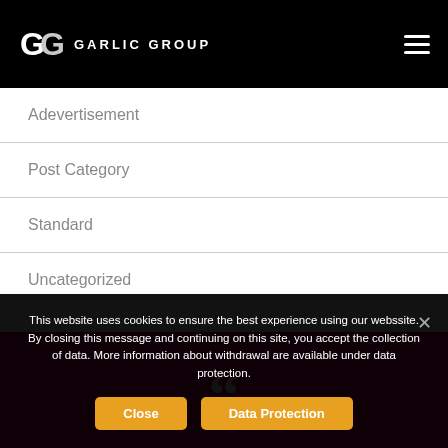GG GARLIC GROUP
Adevertisement
Post Category
Standard
Uncategorized
[Figure (other): Pink/magenta section with large white open double quotation mark]
This website uses cookies to ensure the best experience using our webssite. By closing this message and continuing on this site, you accept the collection of data. More information about withdrawal are available under data protection.
Close  Data Protection